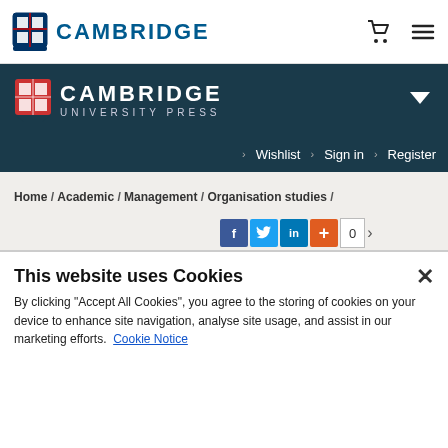[Figure (logo): Cambridge University logo with shield and CAMBRIDGE text in blue, top navigation bar with cart and menu icons]
[Figure (logo): Cambridge University Press logo with shield, CAMBRIDGE and UNIVERSITY PRESS text in white on dark teal header band, with chevron down icon]
> Wishlist  > Sign in  > Register
Home / Academic / Management / Organisation studies /
[Figure (infographic): Social share buttons: Facebook (f), Twitter, LinkedIn, plus button, share count showing 0]
Mindfulness in Organizations
Foundations, Research, and
[Figure (illustration): Book cover thumbnail with LOOK INSIDE tag in orange, dark blue cover with MINDFULNESS IN ORGANIZATIONS text]
This website uses Cookies
By clicking “Accept All Cookies”, you agree to the storing of cookies on your device to enhance site navigation, analyse site usage, and assist in our marketing efforts.
Cookie Notice